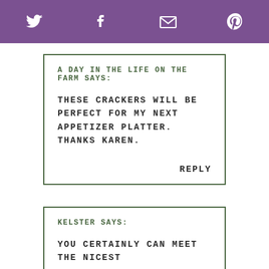Twitter | Facebook | Email | Pinterest (social share bar)
A DAY IN THE LIFE ON THE FARM SAYS:
THESE CRACKERS WILL BE PERFECT FOR MY NEXT APPETIZER PLATTER. THANKS KAREN.
REPLY
KELSTER SAYS:
YOU CERTAINLY CAN MEET THE NICEST